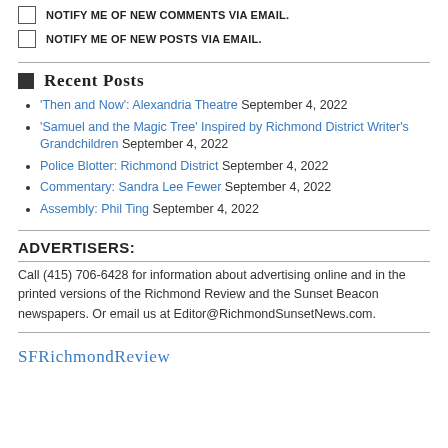NOTIFY ME OF NEW COMMENTS VIA EMAIL.
NOTIFY ME OF NEW POSTS VIA EMAIL.
Recent Posts
'Then and Now': Alexandria Theatre September 4, 2022
'Samuel and the Magic Tree' Inspired by Richmond District Writer's Grandchildren September 4, 2022
Police Blotter: Richmond District September 4, 2022
Commentary: Sandra Lee Fewer September 4, 2022
Assembly: Phil Ting September 4, 2022
ADVERTISERS:
Call (415) 706-6428 for information about advertising online and in the printed versions of the Richmond Review and the Sunset Beacon newspapers. Or email us at Editor@RichmondSunsetNews.com.
SFRichmondReview